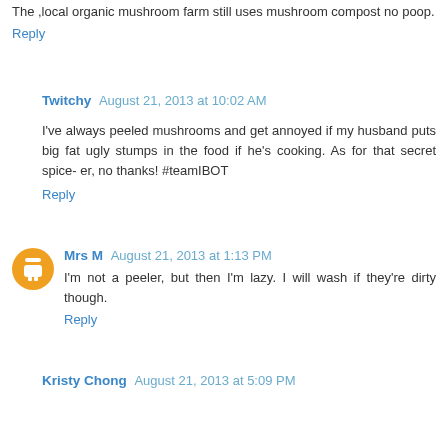The ,local organic mushroom farm still uses mushroom compost no poop.
Reply
Twitchy  August 21, 2013 at 10:02 AM
I've always peeled mushrooms and get annoyed if my husband puts big fat ugly stumps in the food if he's cooking. As for that secret spice- er, no thanks! #teamIBOT
Reply
Mrs M  August 21, 2013 at 1:13 PM
I'm not a peeler, but then I'm lazy. I will wash if they're dirty though.
Reply
Kristy Chong  August 21, 2013 at 5:09 PM